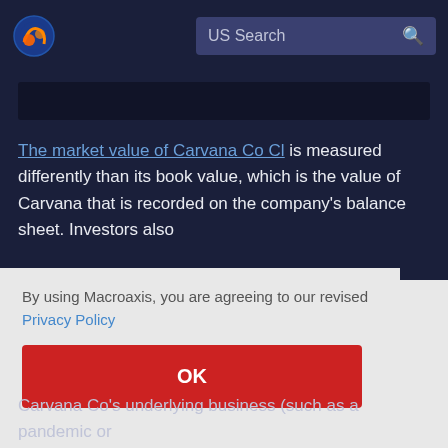US Search
The market value of Carvana Co Cl is measured differently than its book value, which is the value of Carvana that is recorded on the company's balance sheet. Investors also
By using Macroaxis, you are agreeing to our revised Privacy Policy
OK
Carvana Co's underlying business (such as a pandemic or